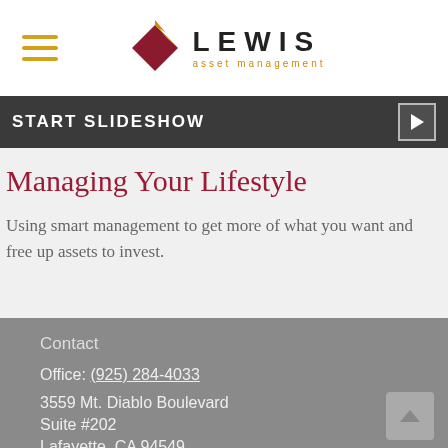Lewis Asset Management
[Figure (logo): Lewis Asset Management logo with dark red square and orange diamond shape, company name LEWIS in bold black letters and 'asset management' in orange below]
START SLIDESHOW
Managing Your Lifestyle
Using smart management to get more of what you want and free up assets to invest.
Contact
Office: (925) 284-4033
3559 Mt. Diablo Boulevard
Suite #202
Lafayette, CA 94549